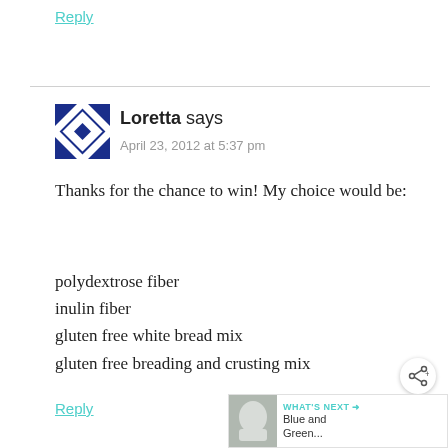Reply
[Figure (illustration): Blue geometric avatar icon with diamond/star pattern]
Loretta says
April 23, 2012 at 5:37 pm
Thanks for the chance to win! My choice would be:
polydextrose fiber
inulin fiber
gluten free white bread mix
gluten free breading and crusting mix
Reply